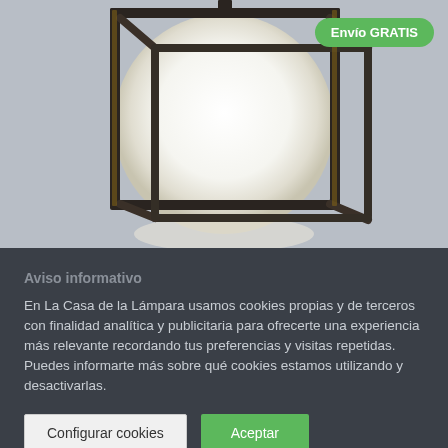[Figure (photo): Close-up photo of a modern geometric cube-shaped pendant lamp with black metal frame and a large glowing white spherical glass bulb inside, on a light grey background. A green 'Envío GRATIS' badge is overlaid in the top-right corner.]
Envío GRATIS
Aviso informativo
En La Casa de la Lámpara usamos cookies propias y de terceros con finalidad analítica y publicitaria para ofrecerte una experiencia más relevante recordando tus preferencias y visitas repetidas. Puedes informarte más sobre qué cookies estamos utilizando y desactivarlas.
Configurar cookies
Aceptar